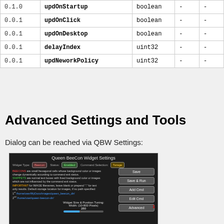| version | name | type | default | valid |
| --- | --- | --- | --- | --- |
| 0.1.0 | updOnStartup | boolean | - | - |
| 0.0.1 | updOnClick | boolean | - | - |
| 0.0.1 | updOnDesktop | boolean | - | - |
| 0.0.1 | delayIndex | uint32 | - | - |
| 0.0.1 | updNeworkPolicy | uint32 | - | - |
Advanced Settings and Tools
Dialog can be reached via QBW Settings:
[Figure (screenshot): Queen BeeCon Widget Settings dialog screenshot showing widget type, status, command selection tabs, save/run/add/edit/advanced buttons, widget size and position tuning with width slider set to 280]
[Figure (screenshot): Second screenshot showing a grid of hexagonal/square widget cells with various colors representing BeeCon widget states]